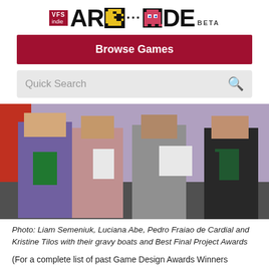[Figure (logo): VFS Indie Arcade BETA logo with pixel art Pac-Man and ghost characters]
Browse Games
Quick Search
[Figure (photo): Four people standing holding gravy boats and award trophies/tablets. From left: person in purple shirt, person in pink shirt, person in grey, person in black dress.]
Photo: Liam Semeniuk, Luciana Abe, Pedro Fraiao de Cardial and Kristine Tilos with their gravy boats and Best Final Project Awards
(For a complete list of past Game Design Awards Winners